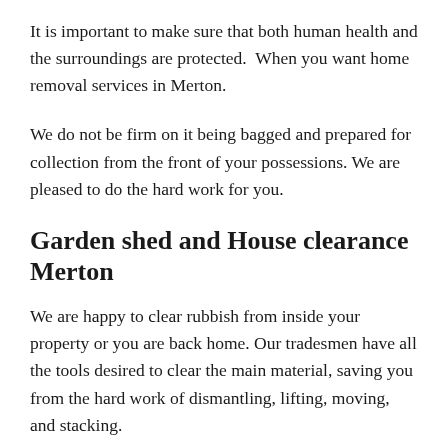It is important to make sure that both human health and the surroundings are protected.  When you want home removal services in Merton.
We do not be firm on it being bagged and prepared for collection from the front of your possessions. We are pleased to do the hard work for you.
Garden shed and House clearance Merton
We are happy to clear rubbish from inside your property or you are back home. Our tradesmen have all the tools desired to clear the main material, saving you from the hard work of dismantling, lifting, moving, and stacking.